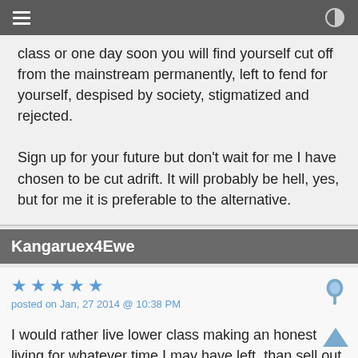class or one day soon you will find yourself cut off from the mainstream permanently, left to fend for yourself, despised by society, stigmatized and rejected.

Sign up for your future but don't wait for me I have chosen to be cut adrift. It will probably be hell, yes, but for me it is preferable to the alternative.
Kangaruex4Ewe
★★★★★
posted on Jan, 27 2014 @ 10:38 PM

I would rather live lower class making an honest living for whatever time I may have left, than sell out to anyone. They can keep their middle-class and their upper-class. I would not shame myself... let alone my mother, my father, my daughter, or my husband, by signing up to live a lie and receive dishonest compensation for my soul.